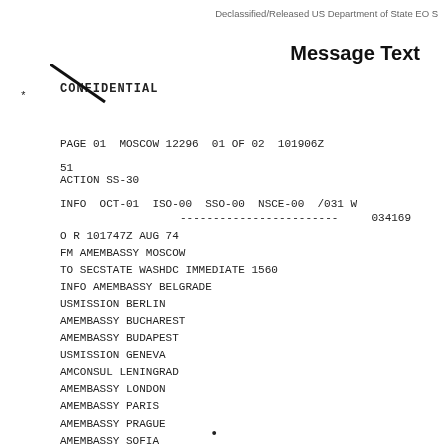Declassified/Released US Department of State EO S
Message Text
CONFIDENTIAL
PAGE 01  MOSCOW 12296  01 OF 02  101906Z
51
ACTION SS-30
INFO  OCT-01  ISO-00  SSO-00  NSCE-00  /031 W
------------------------     034169
O R 101747Z AUG 74
FM AMEMBASSY MOSCOW
TO SECSTATE WASHDC IMMEDIATE 1560
INFO AMEMBASSY BELGRADE
USMISSION BERLIN
AMEMBASSY BUCHAREST
AMEMBASSY BUDAPEST
USMISSION GENEVA
AMCONSUL LENINGRAD
AMEMBASSY LONDON
AMEMBASSY PARIS
AMEMBASSY PRAGUE
AMEMBASSY SOFIA
AMEMBASSY WARSAW
AMEMBASSY BONN
USMISSION NATO
USDEL MBFR VIENNA